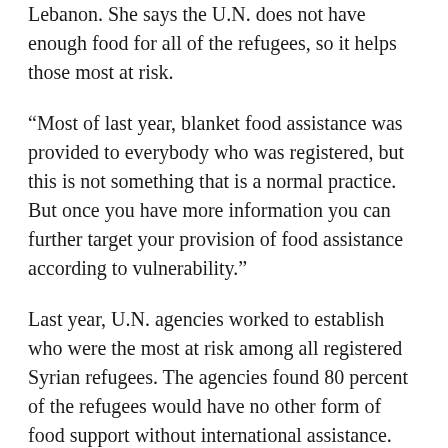Lebanon. She says the U.N. does not have enough food for all of the refugees, so it helps those most at risk.
“Most of last year, blanket food assistance was provided to everybody who was registered, but this is not something that is a normal practice. But once you have more information you can further target your provision of food assistance according to vulnerability.”
Last year, U.N. agencies worked to establish who were the most at risk among all registered Syrian refugees. The agencies found 80 percent of the refugees would have no other form of food support without international assistance. The agencies used this information to make some difficult decisions.
“Which meant that there were 20 percent who had been receiving food who were notified that they would